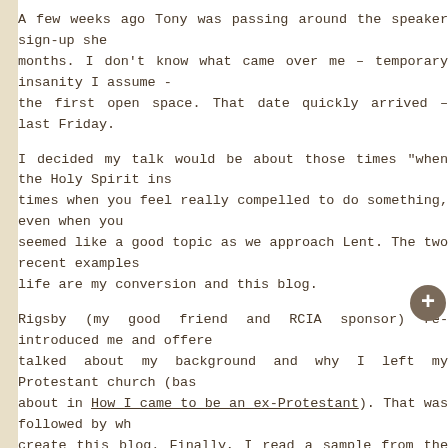A few weeks ago Tony was passing around the speaker sign-up she months. I don't know what came over me – temporary insanity I assume - the first open space. That date quickly arrived – last Friday.
I decided my talk would be about those times "when the Holy Spirit ins times when you feel really compelled to do something, even when you seemed like a good topic as we approach Lent. The two recent examples life are my conversion and this blog.
Rigsby (my good friend and RCIA sponsor) re-introduced me and offere talked about my background and why I left my Protestant church (bas about in How I came to be an ex-Protestant). That was followed by wh create this blog. Finally, I read a sample from the blog on why I de Catholicism (How in the world did I end up here?).
If you have been reading this blog you already know that no one would with those of good writer. Trust me, I am an even worse public speaker! a prepared speech, so my notes were just the points I hoped to make. before I got a bit lost and ended-up skipping a bunch of them. On the about the allotted time, so maybe that was a good thing. I hope that it m grateful these things are not recorded.
My plan to read something in conclusion was so that no matter how sca